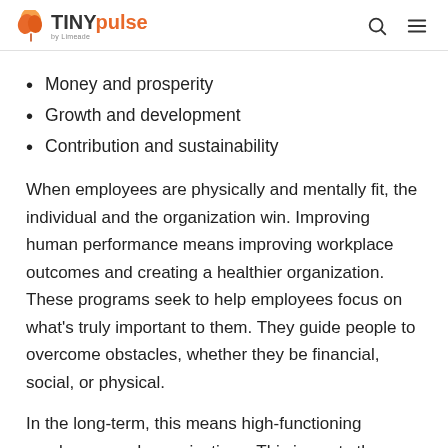TINYpulse by Limeade
Money and prosperity
Growth and development
Contribution and sustainability
When employees are physically and mentally fit, the individual and the organization win. Improving human performance means improving workplace outcomes and creating a healthier organization. These programs seek to help employees focus on what’s truly important to them. They guide people to overcome obstacles, whether they be financial, social, or physical.
In the long-term, this means high-functioning employees and organizations. This impacts the bottom line too — directly impacting the bottom line as well.